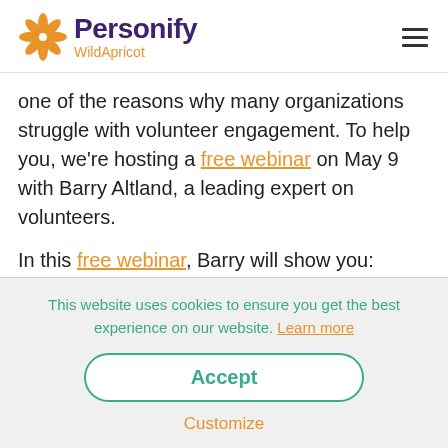Personify WildApricot
one of the reasons why many organizations struggle with volunteer engagement. To help you, we're hosting a free webinar on May 9 with Barry Altland, a leading expert on volunteers.
In this free webinar, Barry will show you:
This website uses cookies to ensure you get the best experience on our website. Learn more
Accept
Customize